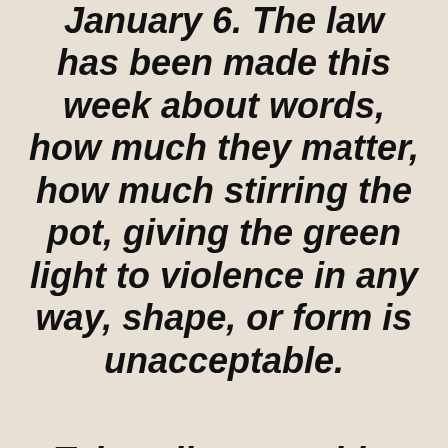January 6. The law has been made this week about words, how much they matter, how much stirring the pot, giving the green light to violence in any way, shape, or form is unacceptable.

Take a listen to this.

(BEGIN VIDEO CLIP)